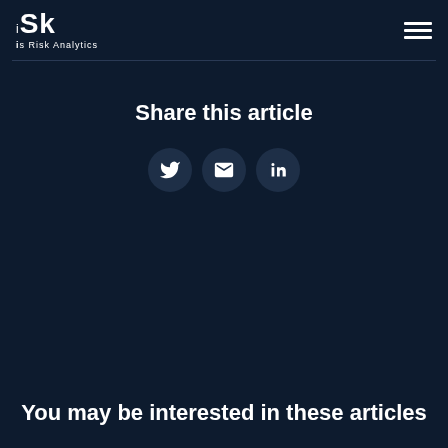Risk IS Risk Analytics
Share this article
[Figure (other): Three social share icon buttons: Twitter bird icon, Email envelope icon, LinkedIn 'in' icon — each in a dark circular button]
You may be interested in these articles